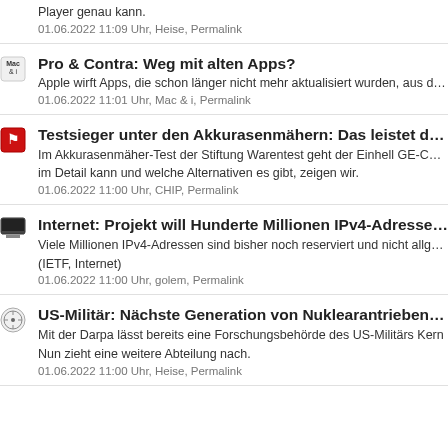Player genau kann.
01.06.2022 11:09 Uhr, Heise, Permalink
Pro & Contra: Weg mit alten Apps?
Apple wirft Apps, die schon länger nicht mehr aktualisiert wurden, aus dem...
01.06.2022 11:01 Uhr, Mac & i, Permalink
Testsieger unter den Akkurasenmähern: Das leistet der Einh...
Im Akkurasenmäher-Test der Stiftung Warentest geht der Einhell GE-CM ... im Detail kann und welche Alternativen es gibt, zeigen wir.
01.06.2022 11:00 Uhr, CHIP, Permalink
Internet: Projekt will Hunderte Millionen IPv4-Adressen befre...
Viele Millionen IPv4-Adressen sind bisher noch reserviert und nicht allgem... (IETF, Internet)
01.06.2022 11:00 Uhr, golem, Permalink
US-Militär: Nächste Generation von Nuklearantrieben für Ra...
Mit der Darpa lässt bereits eine Forschungsbehörde des US-Militärs Kern... Nun zieht eine weitere Abteilung nach.
01.06.2022 11:00 Uhr, Heise, Permalink